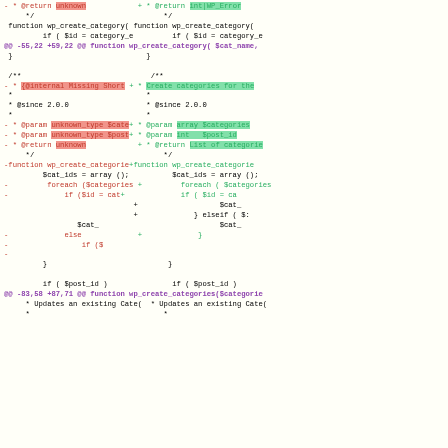[Figure (screenshot): Code diff view showing two columns of PHP source code with red (deleted) and green (added) lines. Highlights show changes to PHPDoc comments and function bodies for wp_create_category and wp_create_categories functions.]